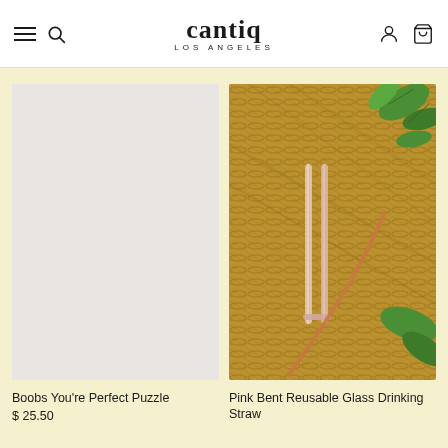cantiq LOS ANGELES — navigation header with hamburger menu, search, account, and cart icons
[Figure (photo): Product image placeholder (light gray background) for Boobs You're Perfect Puzzle]
Boobs You're Perfect Puzzle
$ 25.50
[Figure (photo): Photo of Pink Bent Reusable Glass Drinking Straw laid on a wicker/rattan surface with green leaves around it]
Pink Bent Reusable Glass Drinking Straw